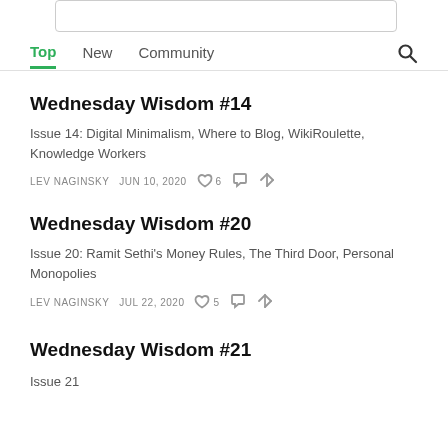[Figure (screenshot): Top portion of a text input box, partially cut off]
Top   New   Community
Wednesday Wisdom #14
Issue 14: Digital Minimalism, Where to Blog, WikiRoulette, Knowledge Workers
LEV NAGINSKY   JUN 10, 2020   ♡ 6
Wednesday Wisdom #20
Issue 20: Ramit Sethi's Money Rules, The Third Door, Personal Monopolies
LEV NAGINSKY   JUL 22, 2020   ♡ 5
Wednesday Wisdom #21
Issue 21